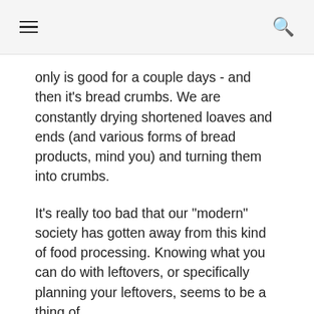≡  🔍
only is good for a couple days - and then it's bread crumbs. We are constantly drying shortened loaves and ends (and various forms of bread products, mind you) and turning them into crumbs.
It's really too bad that our "modern" society has gotten away from this kind of food processing. Knowing what you can do with leftovers, or specifically planning your leftovers, seems to be a thing of